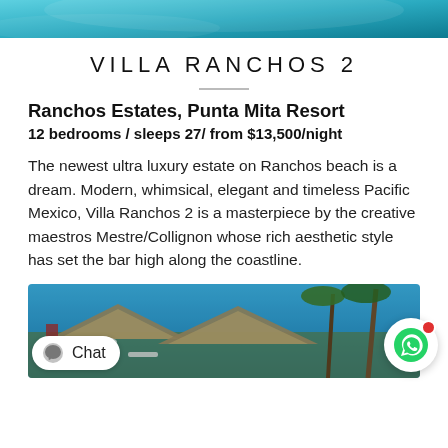[Figure (photo): Top portion of a swimming pool or water feature, teal/blue colors, partial view at top of page]
VILLA RANCHOS 2
Ranchos Estates, Punta Mita Resort
12 bedrooms / sleeps 27 / from $13,500/night
The newest ultra luxury estate on Ranchos beach is a dream. Modern, whimsical, elegant and timeless Pacific Mexico, Villa Ranchos 2 is a masterpiece by the creative maestros Mestre/Collignon whose rich aesthetic style has set the bar high along the coastline.
[Figure (photo): Exterior photo of Villa Ranchos 2 showing thatched-roof palapas, palm trees, lounge chairs and umbrellas under a bright blue sky]
Chat